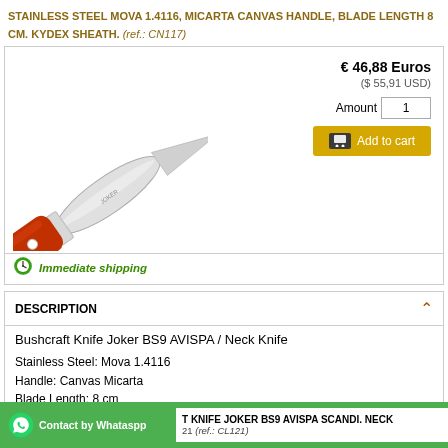STAINLESS STEEL MOVA 1.4116, MICARTA CANVAS HANDLE, BLADE LENGTH 8 CM. KYDEX SHEATH. (ref.: CN117)
[Figure (photo): Bushcraft knife Joker BS9 AVISPA with red/orange canvas micarta handle and silver blade, shown diagonally on white background]
€ 46,88 Euros
($ 55,91 USD)
Amount: 1
[Add to cart]
Immediate shipping
DESCRIPTION
Bushcraft Knife Joker BS9 AVISPA / Neck Knife

Stainless Steel: Mova 1.4116
Handle: Canvas Micarta
Blade Length: 8 cm
Blade width: 2,5 cm
Thickness of blade: 3 mm
Weight: 100 gr.
Kydex sheath

1,30 meters Paracord 550 included.
Contact by Whatsapp  T KNIFE JOKER BS9 AVISPA SCANDI. NECK
21 (ref.: CL121)